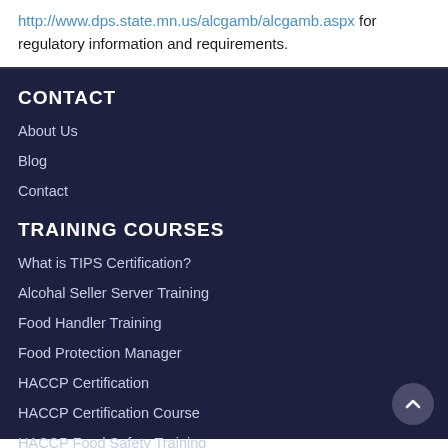http://www.dps.state.mn.us/alcgamb/alcgamb.aspx for regulatory information and requirements.
CONTACT
About Us
Blog
Contact
TRAINING COURSES
What is TIPS Certification?
Alcohal Seller Server Training
Food Handler Training
Food Protection Manager
HACCP Certification
HACCP Certification Course
HACCP Food Safety Training